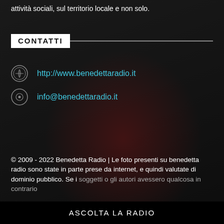attività sociali, sul territorio locale e non solo.
CONTATTI
http://www.benedettaradio.it
info@benedettaradio.it
© 2009 - 2022 Benedetta Radio | Le foto presenti su benedetta radio sono state in parte prese da internet, e quindi valutate di dominio pubblico. Se i soggetti o gli autori avessero qualcosa in contrario
ASCOLTA LA RADIO